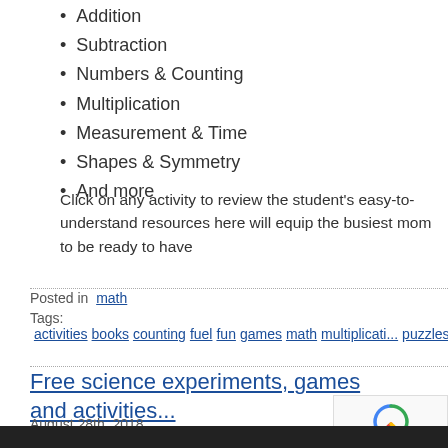Addition
Subtraction
Numbers & Counting
Multiplication
Measurement & Time
Shapes & Symmetry
And more
Click on any activity to review the student's easy-to-understand resources here will equip the busiest mom to be ready to have
Posted in  math
Tags:  activities  books  counting  fuel  fun  games  math  multiplicati... puzzles  resources  shapes  student  subtraction  symmetry  worksh...
Free science experiments, games and activities...
August 28th, 2018